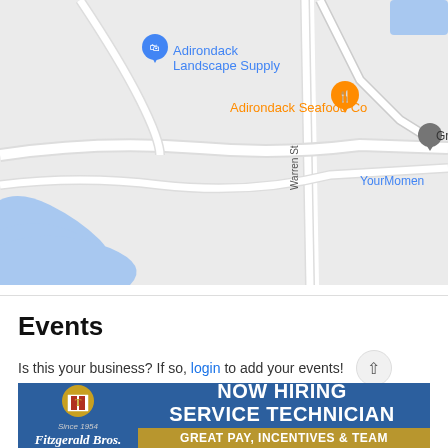[Figure (map): Google Maps screenshot showing local area with landmarks: Adirondack Landscape Supply (blue pin), Adirondack Seafood Co (orange pin), grey location pin partially visible labeled 'Gr', blue water body/river at lower left, road labeled 'Warren St', text 'YourMomen' at right edge]
Events
Is this your business? If so, login to add your events!
[Figure (infographic): Fitzgerald Bros. advertisement banner: blue background with gold crest/shield logo, text 'Fitzgerald Bros.' in white italic script, 'NOW HIRING SERVICE TECHNICIAN' in large bold white text, bottom gold bar with 'GREAT PAY, INCENTIVES & TEAM' in white bold text]